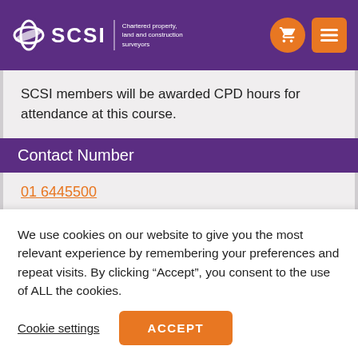SCSI - Chartered property, land and construction surveyors
SCSI members will be awarded CPD hours for attendance at this course.
Contact Number
01 6445500
More Information
education@scsi.ie
We use cookies on our website to give you the most relevant experience by remembering your preferences and repeat visits. By clicking “Accept”, you consent to the use of ALL the cookies.
Cookie settings
ACCEPT